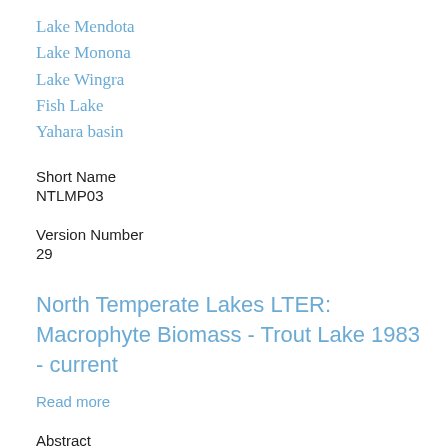Lake Mendota
Lake Monona
Lake Wingra
Fish Lake
Yahara basin
Short Name
NTLMP03
Version Number
29
North Temperate Lakes LTER: Macrophyte Biomass - Trout Lake 1983 - current
Read more
Abstract